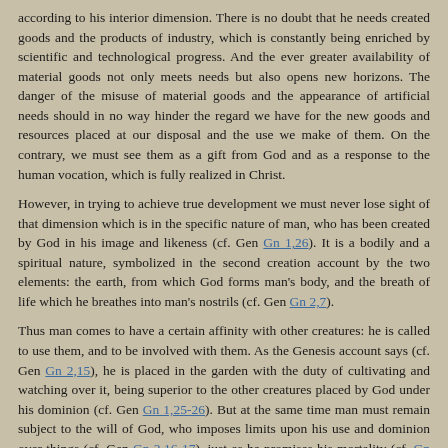according to his interior dimension. There is no doubt that he needs created goods and the products of industry, which is constantly being enriched by scientific and technological progress. And the ever greater availability of material goods not only meets needs but also opens new horizons. The danger of the misuse of material goods and the appearance of artificial needs should in no way hinder the regard we have for the new goods and resources placed at our disposal and the use we make of them. On the contrary, we must see them as a gift from God and as a response to the human vocation, which is fully realized in Christ.
However, in trying to achieve true development we must never lose sight of that dimension which is in the specific nature of man, who has been created by God in his image and likeness (cf. Gen Gn 1,26). It is a bodily and a spiritual nature, symbolized in the second creation account by the two elements: the earth, from which God forms man's body, and the breath of life which he breathes into man's nostrils (cf. Gen Gn 2,7).
Thus man comes to have a certain affinity with other creatures: he is called to use them, and to be involved with them. As the Genesis account says (cf. Gen Gn 2,15), he is placed in the garden with the duty of cultivating and watching over it, being superior to the other creatures placed by God under his dominion (cf. Gen Gn 1,25-26). But at the same time man must remain subject to the will of God, who imposes limits upon his use and dominion over things (cf. Gen Gn 2,16-17), just as he promises his mortality (cf. Gn 2,9 Sg 2,23). Thus man, being the image of God, has a true affinity with him too. On the basis of this teaching, development cannot consist only in the use, dominion over and indiscriminate possession of created things and the products of human industry, but rather in subordinating the possession, dominion and use to man's divine likeness and to his vocation to immortality. This is the transcendent reality of the human being, a reality which is seen to be shared from the beginning by a couple, a man and a woman (cf. Gen Gn 1,27), and is therefore fundamentally social.